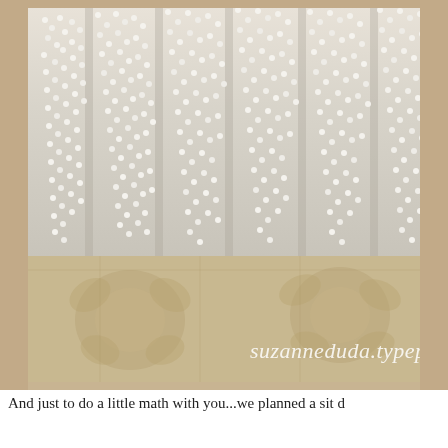[Figure (photo): Close-up photo of white pearl/bead strands hanging over a tan and cream floral patterned fabric or paper background. The beads are small, round, and white/cream colored, arranged in vertical strands. Below the beads is a decorative burlap or linen surface with a darker tan floral pattern. A watermark reads 'suzanneduda.typepa' (partially visible) in white cursive script.]
And just to do a little math with you...we planned a sit d